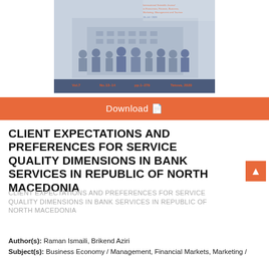[Figure (illustration): Journal cover image showing silhouettes of business people with a building background and journal metadata text. Vol.7 No.13-14 pp.1-279 Tetova, 2020. International Scientific Journal in Economics, Finance, Business, Marketing, Management and Tourism 13-14/2020]
Download
CLIENT EXPECTATIONS AND PREFERENCES FOR SERVICE QUALITY DIMENSIONS IN BANK SERVICES IN REPUBLIC OF NORTH MACEDONIA
CLIENT EXPECTATIONS AND PREFERENCES FOR SERVICE QUALITY DIMENSIONS IN BANK SERVICES IN REPUBLIC OF NORTH MACEDONIA
Author(s): Raman Ismaili, Brikend Aziri
Subject(s): Business Economy / Management, Financial Markets, Marketing / Advertising